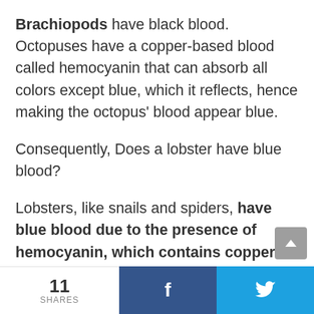Brachiopods have black blood. Octopuses have a copper-based blood called hemocyanin that can absorb all colors except blue, which it reflects, hence making the octopus' blood appear blue.
Consequently, Does a lobster have blue blood?
Lobsters, like snails and spiders, have blue blood due to the presence of hemocyanin, which contains copper. In contrast, vertebrates and many other animals have red blood from iron-rich
11 SHARES  f  🐦